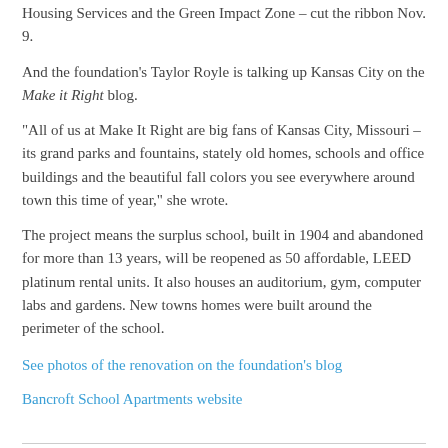Housing Services and the Green Impact Zone – cut the ribbon Nov. 9.
And the foundation's Taylor Royle is talking up Kansas City on the Make it Right blog.
“All of us at Make It Right are big fans of Kansas City, Missouri – its grand parks and fountains, stately old homes, schools and office buildings and the beautiful fall colors you see everywhere around town this time of year,” she wrote.
The project means the surplus school, built in 1904 and abandoned for more than 13 years, will be reopened as 50 affordable, LEED platinum rental units. It also houses an auditorium, gym, computer labs and gardens. New towns homes were built around the perimeter of the school.
See photos of the renovation on the foundation’s blog
Bancroft School Apartments website
November 13, 2013